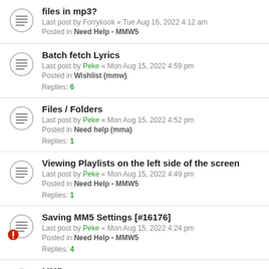files in mp3? — Last post by Forrykook « Tue Aug 16, 2022 4:12 am — Posted in Need Help - MMW5
Batch fetch Lyrics — Last post by Peke « Mon Aug 15, 2022 4:59 pm — Posted in Wishlist (mmw) — Replies: 6
Files / Folders — Last post by Peke « Mon Aug 15, 2022 4:52 pm — Posted in Need help (mma) — Replies: 1
Viewing Playlists on the left side of the screen — Last post by Peke « Mon Aug 15, 2022 4:49 pm — Posted in Need Help - MMW5 — Replies: 1
Saving MM5 Settings [#16176] — Last post by Peke « Mon Aug 15, 2022 4:24 pm — Posted in Need Help - MMW5 — Replies: 4
MM5 ... (partial, cut off at bottom)